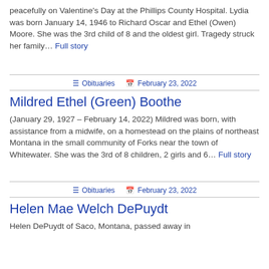peacefully on Valentine's Day at the Phillips County Hospital. Lydia was born January 14, 1946 to Richard Oscar and Ethel (Owen) Moore. She was the 3rd child of 8 and the oldest girl. Tragedy struck her family… Full story
☰ Obituaries  🗓 February 23, 2022
Mildred Ethel (Green) Boothe
(January 29, 1927 – February 14, 2022) Mildred was born, with assistance from a midwife, on a homestead on the plains of northeast Montana in the small community of Forks near the town of Whitewater. She was the 3rd of 8 children, 2 girls and 6… Full story
☰ Obituaries  🗓 February 23, 2022
Helen Mae Welch DePuydt
Helen DePuydt of Saco, Montana, passed away in